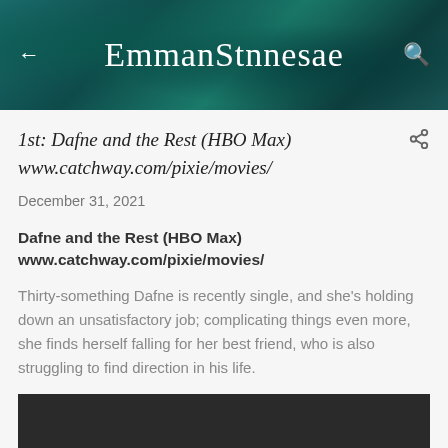EmmanStnnesae
1st: Dafne and the Rest (HBO Max)
www.catchway.com/pixie/movies/
December 31, 2021
Dafne and the Rest (HBO Max)
www.catchway.com/pixie/movies/
Thirty-something Dafne is recently single, and she's holding down an unsatisfactory job; complicating things even more, she finds herself falling for her best friend, who is also struggling to find direction in his life.
[Figure (other): Dark video/media player block at the bottom of the post]